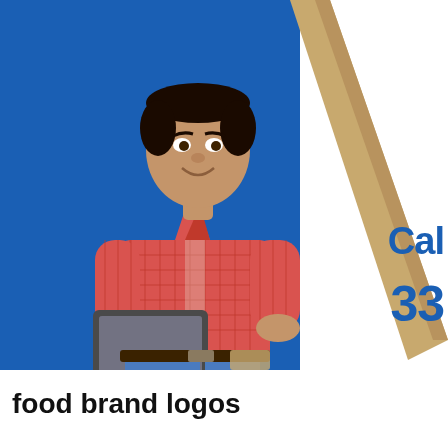[Figure (photo): A smiling man in a red checkered short-sleeve shirt holding a tablet, standing in front of a blue background with a wooden plank/ladder behind him. He wears jeans with a tool belt.]
Cal
33
food brand logos